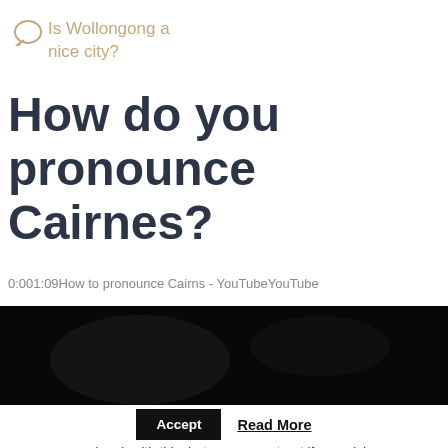Is Wollongong a nice city?
How do you pronounce Cairnes?
0:001:09How to pronounce Cairns - YouTubeYouTube
[Figure (screenshot): Dark blurred video thumbnail for a YouTube video about pronouncing Cairns]
This website uses cookies to improve your experience. We'll assume you're ok with this, but you can opt-out if you wish.
Accept  Read More